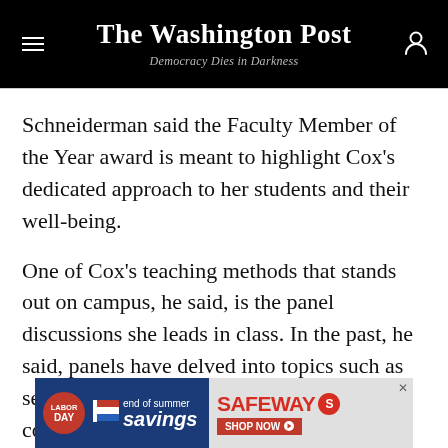The Washington Post — Democracy Dies in Darkness
Schneiderman said the Faculty Member of the Year award is meant to highlight Cox's dedicated approach to her students and their well-being.
One of Cox's teaching methods that stands out on campus, he said, is the panel discussions she leads in class. In the past, he said, panels have delved into topics such as sex work and issues affecting the LGBTQ community, often with members of those communities answering questions during lively classroom discussions.
[Figure (other): Safeway 'end of summer savings' advertisement banner with Labor Day badge and flag icon]